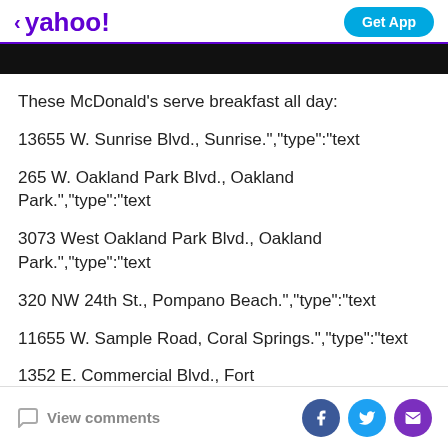yahoo! | Get App
These McDonald's serve breakfast all day:
13655 W. Sunrise Blvd., Sunrise.","type":"text
265 W. Oakland Park Blvd., Oakland Park.","type":"text
3073 West Oakland Park Blvd., Oakland Park.","type":"text
320 NW 24th St., Pompano Beach.","type":"text
11655 W. Sample Road, Coral Springs.","type":"text
1352 E. Commercial Blvd., Fort Lauderdale.","type":"text
View comments